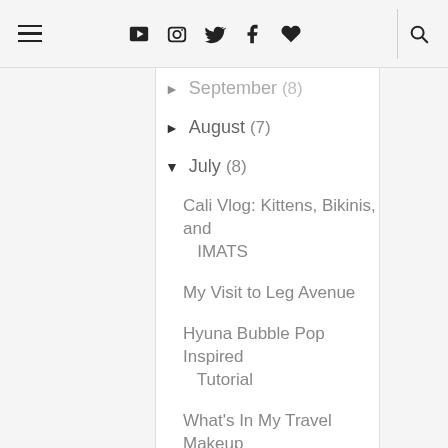≡ ▶ 📷 🐦 f ♥ 🔍
► September (8)
► August (7)
▼ July (8)
Cali Vlog: Kittens, Bikinis, and IMATS
My Visit to Leg Avenue
Hyuna Bubble Pop Inspired Tutorial
What's In My Travel Makeup Bag?
Urban Decay 15th Anniversary Palette Review & Swat...
June Hits & Misses